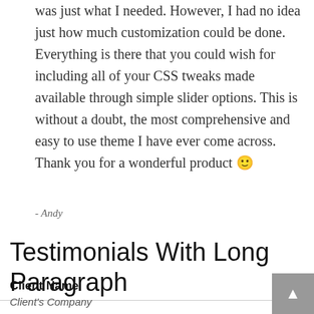was just what I needed. However, I had no idea just how much customization could be done. Everything is there that you could wish for including all of your CSS tweaks made available through simple slider options. This is without a doubt, the most comprehensive and easy to use theme I have ever come across. Thank you for a wonderful product 🙂
- Andy
Testimonials With Long Paragraph
Client Name
Client's Company